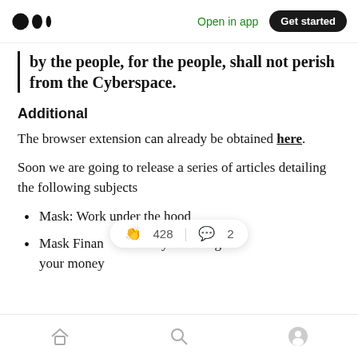Medium app header with logo, Open in app link, Get started button
by the people, for the people, shall not perish from the Cyberspace.
Additional
The browser extension can already be obtained here.
Soon we are going to release a series of articles detailing the following subjects
Mask: Work under the hood
Mask Finan … you manage your money
Bottom navigation bar with home, search, profile icons